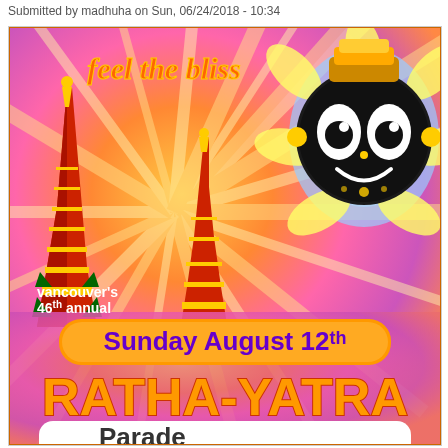Submitted by madhuha on Sun, 06/24/2018 - 10:34
[Figure (illustration): Event poster for Vancouver's 46th Annual Ratha-Yatra festival. Colorful orange/pink/purple background with radiating rays. Features decorated chariots (rathas) in the center-left, a large Jagannath deity face illustration on the upper right with decorative floral motifs. Text reads 'feel the bliss' in orange italic font at top, 'vancouver's 46th annual' in white on lower left, 'Sunday August 12th' in a purple-on-orange rounded rectangle banner, 'RATHA-YATRA' in large orange letters, and 'Parade' beginning to show at the bottom in a white rounded box.]